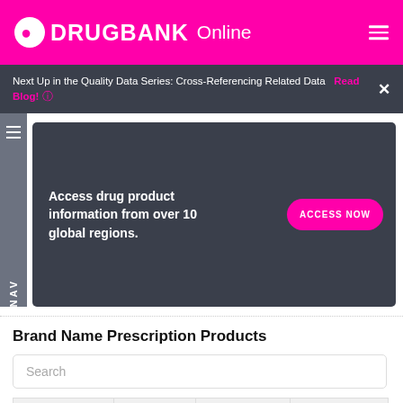DRUGBANK Online
Next Up in the Quality Data Series: Cross-Referencing Related Data  Read Blog!
[Figure (infographic): Dark banner: Access drug product information from over 10 global regions. ACCESS NOW button.]
Brand Name Prescription Products
Search
| NAME | DOSAGE | STRENGTH | ROUTE |
| --- | --- | --- | --- |
| +  Removab | Injection, solution, concentrate | 10 microgram | Intraperitoneal |